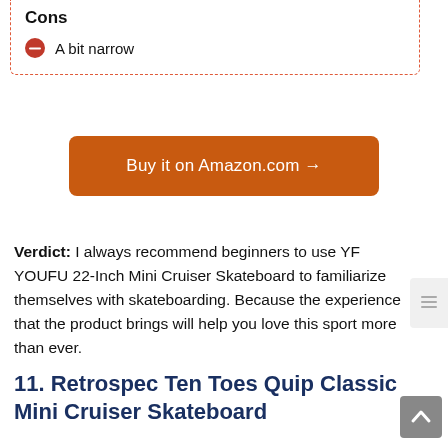Cons
A bit narrow
Buy it on Amazon.com →
Verdict: I always recommend beginners to use YF YOUFU 22-Inch Mini Cruiser Skateboard to familiarize themselves with skateboarding. Because the experience that the product brings will help you love this sport more than ever.
11. Retrospec Ten Toes Quip Classic Mini Cruiser Skateboard